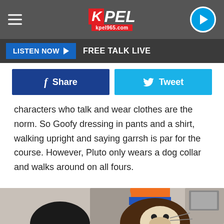KPEL kpel965.com
LISTEN NOW ▶  FREE TALK LIVE
Share  Tweet
characters who talk and wear clothes are the norm. So Goofy dressing in pants and a shirt, walking upright and saying garrsh is par for the course. However, Pluto only wears a dog collar and walks around on all fours.
[Figure (photo): A Goofy stuffed toy/figure wearing an orange and blue hat, photographed indoors with framed pictures visible in the background]